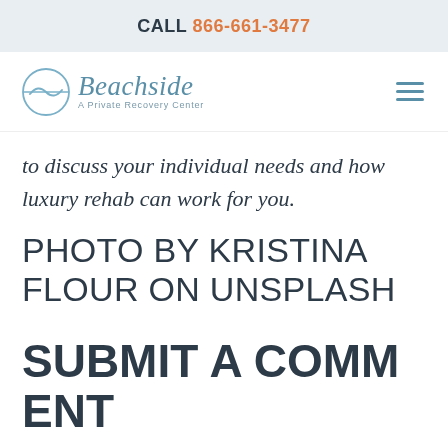CALL 866-661-3477
[Figure (logo): Beachside A Private Recovery Center logo with circular wave emblem]
to discuss your individual needs and how luxury rehab can work for you.
PHOTO BY KRISTINA FLOUR ON UNSPLASH
SUBMIT A COMMENT